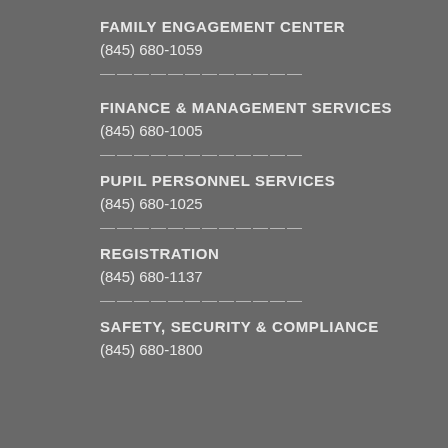FAMILY ENGAGEMENT CENTER
(845) 680-1059
————————————
FINANCE & MANAGEMENT SERVICES
(845) 680-1005
————————————
PUPIL PERSONNEL SERVICES
(845) 680-1025
————————————
REGISTRATION
(845) 680-1137
————————————
SAFETY, SECURITY & COMPLIANCE
(845) 680-1800